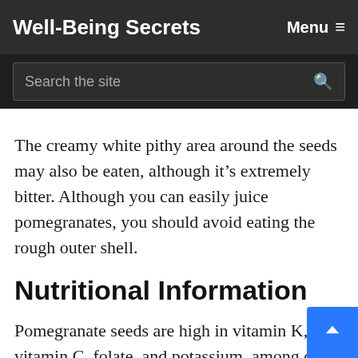Well-Being Secrets
The creamy white pithy area around the seeds may also be eaten, although it's extremely bitter. Although you can easily juice pomegranates, you should avoid eating the rough outer shell.
Nutritional Information
Pomegranate seeds are high in vitamin K, vitamin C, folate, and potassium, among other nutrients. They're also low in calories but rich in fiber, which is good for your heart.